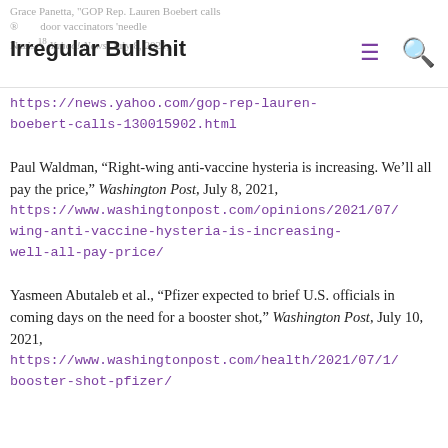Irregular Bullshit
https://news.yahoo.com/gop-rep-lauren-boebert-calls-130015902.html
Paul Waldman, “Right-wing anti-vaccine hysteria is increasing. We’ll all pay the price,” Washington Post, July 8, 2021, https://www.washingtonpost.com/opinions/2021/07/wing-anti-vaccine-hysteria-is-increasing-well-all-pay-price/
Yasmeen Abutaleb et al., “Pfizer expected to brief U.S. officials in coming days on the need for a booster shot,” Washington Post, July 10, 2021, https://www.washingtonpost.com/health/2021/07/1/booster-shot-pfizer/